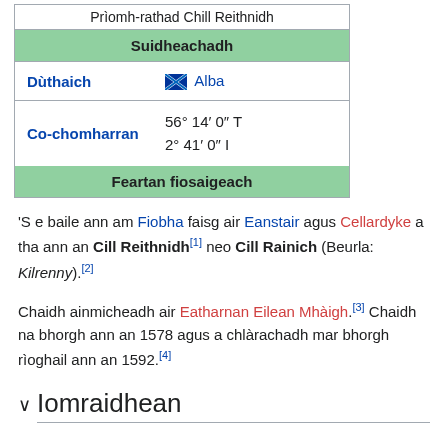| Prìomh-rathad Chill Reithnidh |
| Suidheachadh |
| Dùthaich | Alba |
| Co-chomharran | 56° 14′ 0″ T
2° 41′ 0″ I |
| Feartan fiosaigeach |
'S e baile ann am Fiobha faisg air Eanstair agus Cellardyke a tha ann an Cill Reithnidh[1] neo Cill Rainich (Beurla: Kilrenny).[2]
Chaidh ainmicheadh air Eatharnan Eilean Mhàigh.[3] Chaidh na bhorgh ann an 1578 agus a chlàrachadh mar bhorgh rìoghail ann an 1592.[4]
Iomraidhean